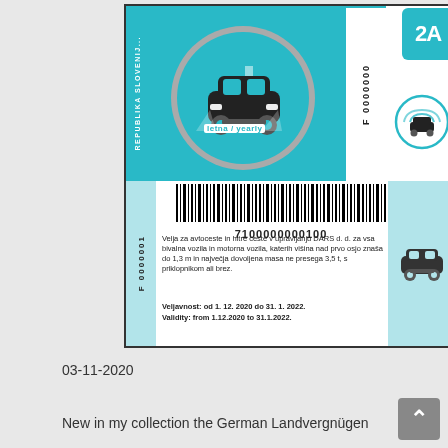[Figure (other): Slovenian highway vignette sticker (letna/yearly) with teal color, car icon, barcode 7100000000100, serial F 0000001 / F 0000000, 2A badge, validity text in Slovenian and English from 1.12.2020 to 31.1.2022]
03-11-2020
New in my collection the German Landvergnügen